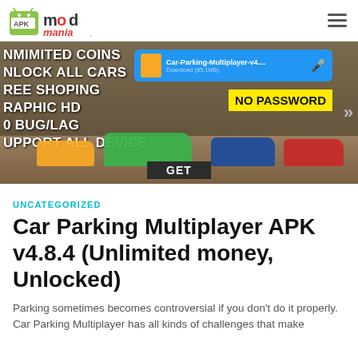MOD Mania APK — navigation bar with logo and hamburger menu
[Figure (screenshot): Car Parking Multiplayer game promotional screenshot showing unlimited coins, unlock all cars, free shopping, graphic HD, no bug/lag, support all device text overlaid on cars background with NO PASSWORD badge, a download bar, and a GET button]
UNCATEGORIZED
Car Parking Multiplayer APK v4.8.4 (Unlimited money, Unlocked)
Parking sometimes becomes controversial if you don't do it properly. Car Parking Multiplayer has all kinds of challenges that make